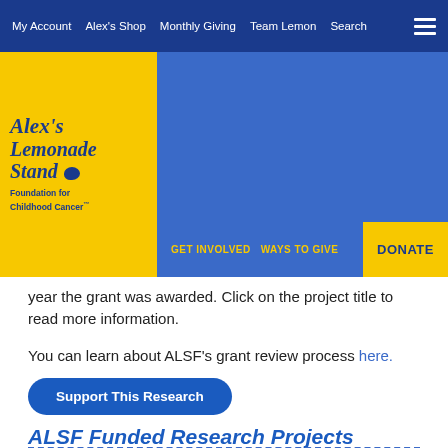My Account | Alex's Shop | Monthly Giving | Team Lemon | Search
[Figure (logo): Alex's Lemonade Stand Foundation for Childhood Cancer logo on yellow background]
GET INVOLVED   WAYS TO GIVE   DONATE
year the grant was awarded. Click on the project title to read more information.
You can learn about ALSF's grant review process here.
Support This Research
ALSF Funded Research Projects
| PROJECT TITLE | YEAR | STATE |
| --- | --- | --- |
| Blockade of MYCN in neuroblastoma | 2011 | California |